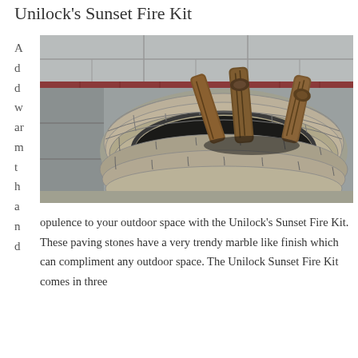Unilock's Sunset Fire Kit
Add warmth and
[Figure (photo): A circular stone fire pit made of rough-hewn grey and beige blocks, with a black metal insert ring and firewood logs stacked inside. The pit sits on a grey stone patio surface.]
opulence to your outdoor space with the Unilock's Sunset Fire Kit. These paving stones have a very trendy marble like finish which can compliment any outdoor space. The Unilock Sunset Fire Kit comes in three